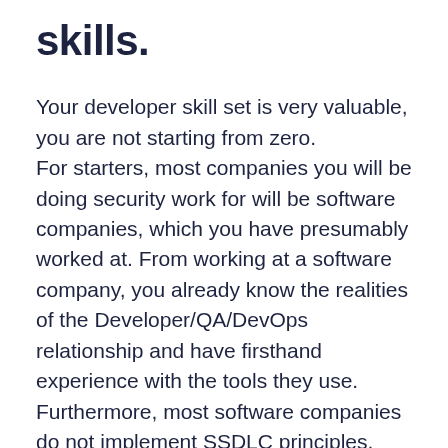skills.
Your developer skill set is very valuable, you are not starting from zero.
For starters, most companies you will be doing security work for will be software companies, which you have presumably worked at. From working at a software company, you already know the realities of the Developer/QA/DevOps relationship and have firsthand experience with the tools they use.
Furthermore, most software companies do not implement SSDLC principles, which you may have a better insight into than security professionals with a different